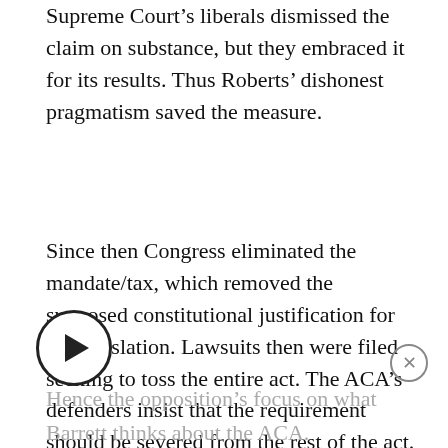Supreme Court's liberals dismissed the claim on substance, but they embraced it for its results. Thus Roberts' dishonest pragmatism saved the measure.
Since then Congress eliminated the mandate/tax, which removed the supposed constitutional justification for the legislation. Lawsuits then were filed seeking to toss the entire act. The ACA's defenders insist that the requirement should be severed from the rest of the act. The decision could go either way. The Supreme Court will decide.
Hence the opposition's focus on what Barrett thinks about the ACA.